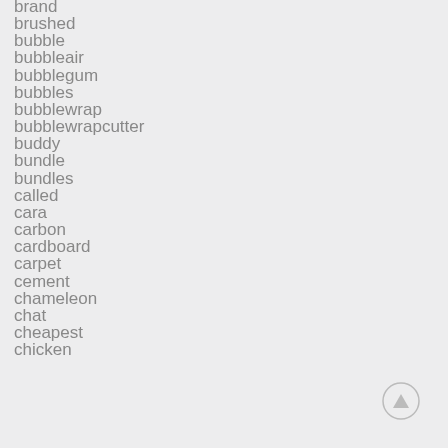brand
brushed
bubble
bubbleair
bubblegum
bubbles
bubblewrap
bubblewrapcutter
buddy
bundle
bundles
called
cara
carbon
cardboard
carpet
cement
chameleon
chat
cheapest
chicken